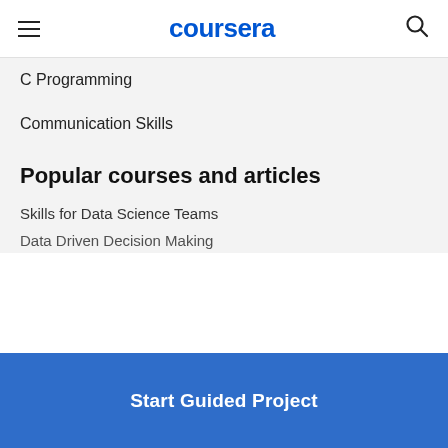coursera
C Programming
Communication Skills
Blockchain
See all courses
Popular courses and articles
Skills for Data Science Teams
Data Driven Decision Making
Start Guided Project